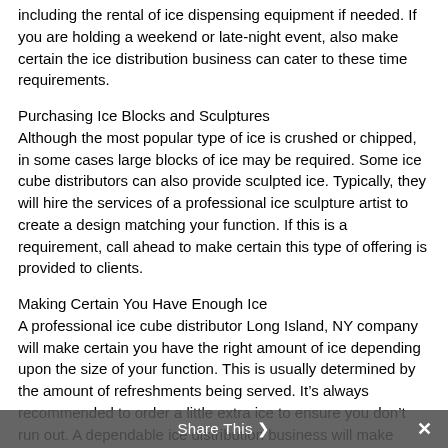including the rental of ice dispensing equipment if needed. If you are holding a weekend or late-night event, also make certain the ice distribution business can cater to these time requirements.
Purchasing Ice Blocks and Sculptures
Although the most popular type of ice is crushed or chipped, in some cases large blocks of ice may be required. Some ice cube distributors can also provide sculpted ice. Typically, they will hire the services of a professional ice sculpture artist to create a design matching your function. If this is a requirement, call ahead to make certain this type of offering is provided to clients.
Making Certain You Have Enough Ice
A professional ice cube distributor Long Island, NY company will make certain you have the right amount of ice depending upon the size of your function. This is usually determined by the amount of refreshments being served. It’s always recommended to order a little extra ice to ensure you don’t run out. A dependable ice distribution business will make certain your event goes seamlessly, and your guests have plenty of ice.
Share This ×